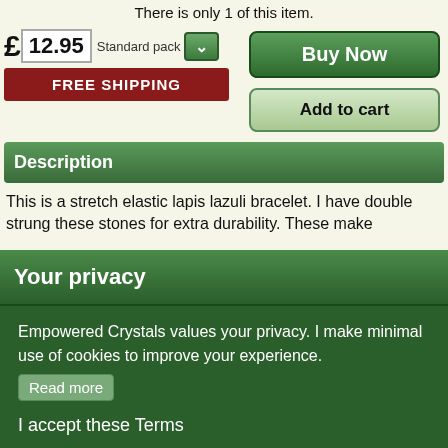There is only 1 of this item.
£12.95 Standard pack
FREE SHIPPING
Buy Now
Add to cart
Description
This is a stretch elastic lapis lazuli bracelet. I have double strung these stones for extra durability. These make
Your privacy
Empowered Crystals values your privacy. I make minimal use of cookies to improve your experience.
Read more
I accept these Terms
Accept